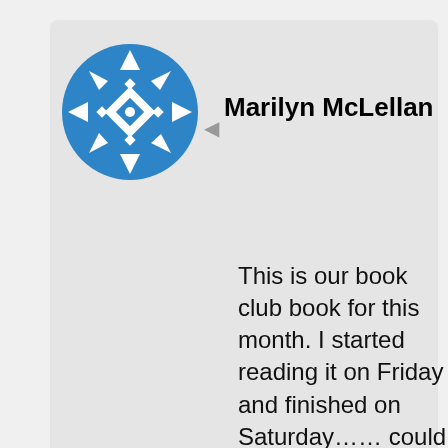[Figure (logo): Blue circular snowflake/geometric pattern logo for Marilyn McLellan]
Marilyn McLellan
This is our book club book for this month. I started reading it on Friday and finished on Saturday……could not put it down! Such an interesting life, full of ups and downs but,
Privacy & Cookies: This site uses cookies. By continuing to use this website, you agree to their use.
To find out more, including how to control cookies, see here: Cookie Policy
Close and accept